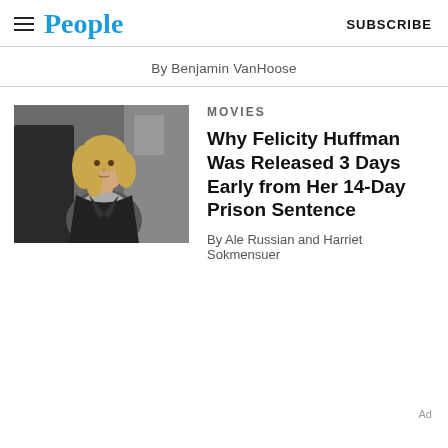People | SUBSCRIBE
By Benjamin VanHoose
[Figure (photo): Photo of Felicity Huffman walking outdoors in a black jacket]
MOVIES
Why Felicity Huffman Was Released 3 Days Early from Her 14-Day Prison Sentence
By Ale Russian and Harriet Sokmensuer
Ad